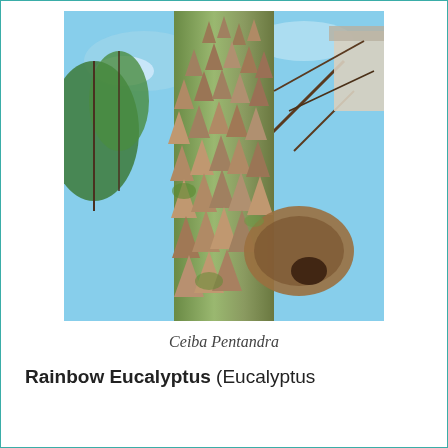[Figure (photo): Close-up upward-looking photograph of a Ceiba Pentandra tree trunk covered in large conical spines/thorns with green moss, blue sky visible in background along with pine-like foliage and a white building corner]
Ceiba Pentandra
Rainbow Eucalyptus (Eucalyptus